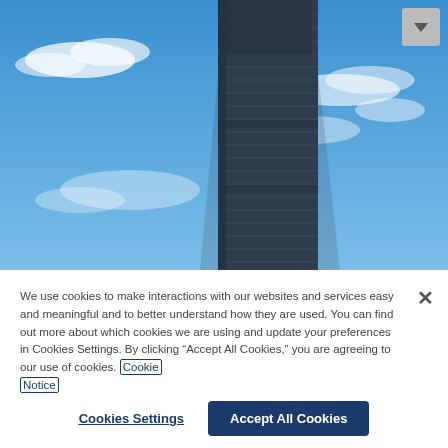[Figure (photo): A tall dark glass skyscraper photographed from below against a bright blue sky with wispy white clouds. The building has a distinctive stepped/setback silhouette with horizontal striping on the facade.]
We use cookies to make interactions with our websites and services easy and meaningful and to better understand how they are used. You can find out more about which cookies we are using and update your preferences in Cookies Settings. By clicking "Accept All Cookies," you are agreeing to our use of cookies. Cookie Notice
Cookies Settings
Accept All Cookies